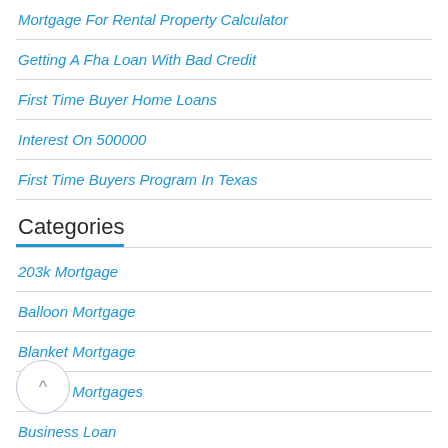Mortgage For Rental Property Calculator
Getting A Fha Loan With Bad Credit
First Time Buyer Home Loans
Interest On 500000
First Time Buyers Program In Texas
Categories
203k Mortgage
Balloon Mortgage
Blanket Mortgage
Blanket Mortgages
Business Loan